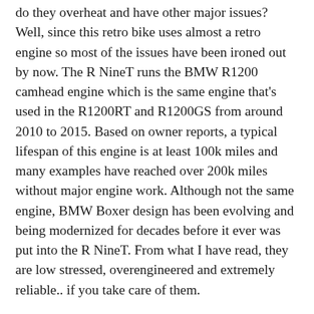do they overheat and have other major issues? Well, since this retro bike uses almost a retro engine so most of the issues have been ironed out by now. The R NineT runs the BMW R1200 camhead engine which is the same engine that's used in the R1200RT and R1200GS from around 2010 to 2015. Based on owner reports, a typical lifespan of this engine is at least 100k miles and many examples have reached over 200k miles without major engine work. Although not the same engine, BMW Boxer design has been evolving and being modernized for decades before it ever was put into the R NineT. From what I have read, they are low stressed, overengineered and extremely reliable.. if you take care of them.
Now, what is there to take care of on this engine? The main and most important thing to remember with this and many other BMW engines is the oil. You have to change and many other BMW engines is the oil. You have to change